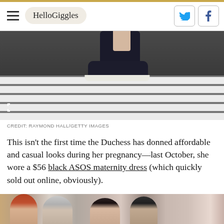HelloGiggles
[Figure (photo): Close-up photo of person's feet wearing black sneakers on a zebra crosswalk, viewed from above. Expand icon shown in bottom-left corner of photo.]
CREDIT: RAYMOND HALL/GETTY IMAGES
This isn't the first time the Duchess has donned affordable and casual looks during her pregnancy—last October, she wore a $56 black ASOS maternity dress (which quickly sold out online, obviously).
[Figure (photo): Photo of several people including Prince Harry on the left and Meghan Markle in the center, smiling, at a public event.]